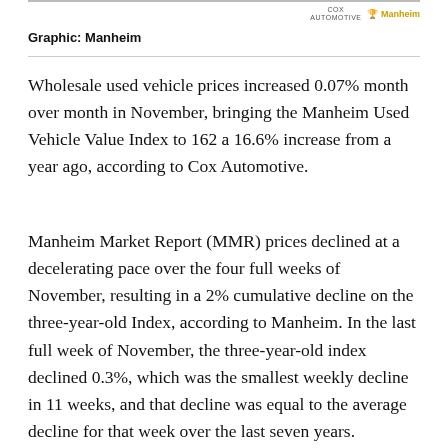Graphic: Manheim
Wholesale used vehicle prices increased 0.07% month over month in November, bringing the Manheim Used Vehicle Value Index to 162 a 16.6% increase from a year ago, according to Cox Automotive.
Manheim Market Report (MMR) prices declined at a decelerating pace over the four full weeks of November, resulting in a 2% cumulative decline on the three-year-old Index, according to Manheim. In the last full week of November, the three-year-old index declined 0.3%, which was the smallest weekly decline in 11 weeks, and that decline was equal to the average decline for that week over the last seven years.